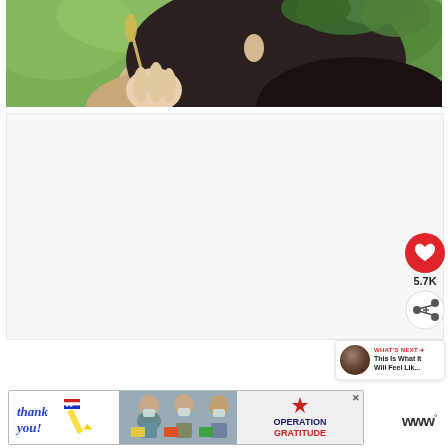[Figure (photo): Close-up photo of a person with dark hair holding a wheat stalk, with green leaves/hops visible on their head, outdoor background]
5.7K
WHAT'S NEXT → This Is What It Will Feel Lik...
[Figure (photo): Advertisement banner: 'Thank you!' with American flag pencil graphic, photo of masked healthcare workers, Operation Gratitude logo]